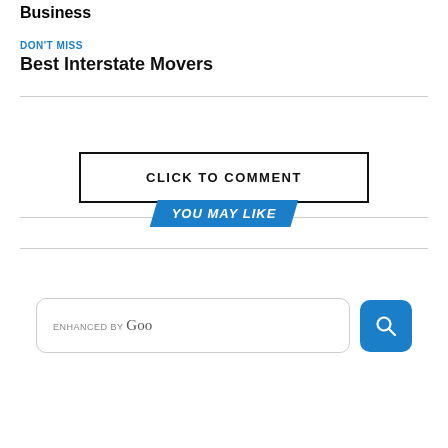Business
DON'T MISS
Best Interstate Movers
[Figure (infographic): YOU MAY LIKE banner badge in blue with angled sides, centered between two horizontal lines]
[Figure (infographic): CLICK TO COMMENT button with black border]
[Figure (infographic): SEARCH ANYTHING banner badge in blue with angled sides, centered between two horizontal lines]
[Figure (infographic): Search box showing 'enhanced by Goo' text with a blue search button icon on the right]